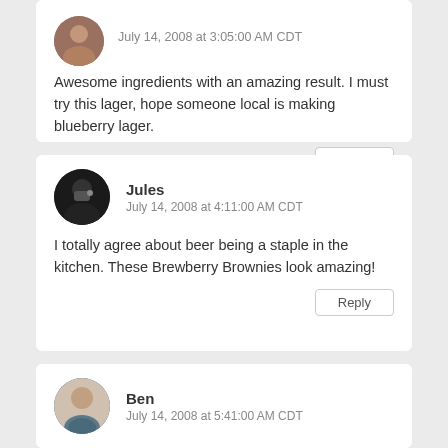July 14, 2008 at 3:05:00 AM CDT
Awesome ingredients with an amazing result. I must try this lager, hope someone local is making blueberry lager.
Reply
Jules
July 14, 2008 at 4:11:00 AM CDT
I totally agree about beer being a staple in the kitchen. These Brewberry Brownies look amazing!
Reply
Ben
July 14, 2008 at 5:41:00 AM CDT